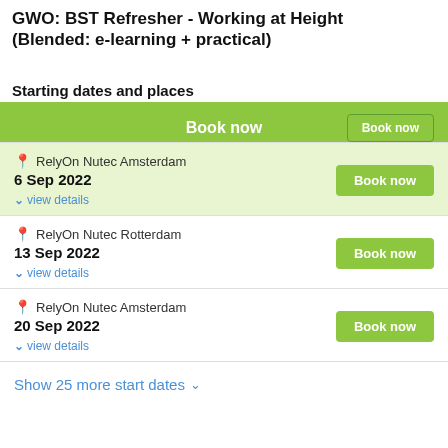GWO: BST Refresher - Working at Height (Blended: e-learning + practical)
$398 ✓ / 1 day  RelyOn Nutec  RelyOn Nutec
Starting dates and places
Book now
RelyOn Nutec Amsterdam
6 Sep 2022
view details
RelyOn Nutec Rotterdam
13 Sep 2022
view details
RelyOn Nutec Amsterdam
20 Sep 2022
view details
Show 25 more start dates